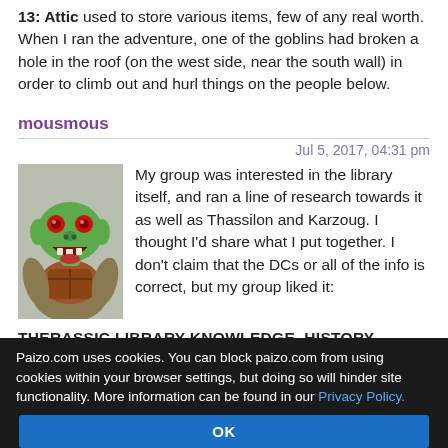13: Attic used to store various items, few of any real worth. When I ran the adventure, one of the goblins had broken a hole in the roof (on the west side, near the south wall) in order to climb out and hurl things on the people below.
mousmous
Jul 5, 2017, 04:31 pm
[Figure (illustration): Avatar image of a green goblin creature with red eyes and an open toothy mouth, wearing reddish armor]
My group was interested in the library itself, and ran a line of research towards it as well as Thassilon and Karzoug. I thought I'd share what I put together. I don't claim that the DCs or all of the info is correct, but my group liked it:
THERASSIC LIBRARY KNOWLEDGE, HISTORY CHECK
Paizo.com uses cookies. You can block paizo.com from using cookies within your browser settings, but doing so will hinder site functionality. More information can be found in our Privacy Policy.
OK